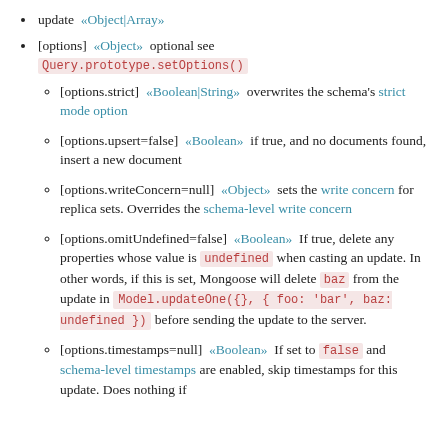update «Object|Array»
[options] «Object» optional see Query.prototype.setOptions()
[options.strict] «Boolean|String» overwrites the schema's strict mode option
[options.upsert=false] «Boolean» if true, and no documents found, insert a new document
[options.writeConcern=null] «Object» sets the write concern for replica sets. Overrides the schema-level write concern
[options.omitUndefined=false] «Boolean» If true, delete any properties whose value is undefined when casting an update. In other words, if this is set, Mongoose will delete baz from the update in Model.updateOne({}, { foo: 'bar', baz: undefined }) before sending the update to the server.
[options.timestamps=null] «Boolean» If set to false and schema-level timestamps are enabled, skip timestamps for this update. Does nothing if